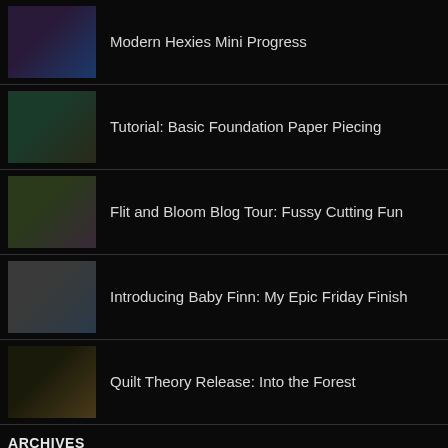Modern Hexies Mini Progress
Tutorial: Basic Foundation Paper Piecing
Flit and Bloom Blog Tour: Fussy Cutting Fun
Introducing Baby Finn: My Epic Friday Finish
Quilt Theory Release: Into the Forest
ARCHIVES
August 2022 (1)
April 2021 (1)